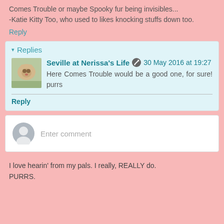Comes Trouble or maybe Spooky fur being invisibles...
-Katie Kitty Too, who used to likes knocking stuffs down too.
Reply
▾ Replies
Seville at Nerissa's Life  30 May 2016 at 19:27
Here Comes Trouble would be a good one, for sure! purrs
Reply
Enter comment
I love hearin' from my pals. I really, REALLY do.
PURRS.